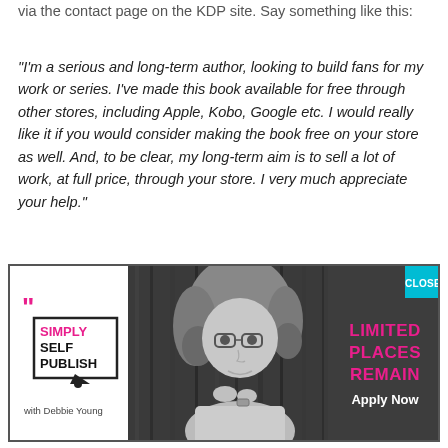via the contact page on the KDP site. Say something like this:
"I'm a serious and long-term author, looking to build fans for my work or series. I've made this book available for free through other stores, including Apple, Kobo, Google etc. I would really like it if you would consider making the book free on your store as well. And, to be clear, my long-term aim is to sell a lot of work, at full price, through your store. I very much appreciate your help."
[Figure (infographic): Advertisement banner for 'Simply Self Publish with Debbie Young' course. Shows logo on left with pink quotation marks and bordered text box with arrow. Center shows black-and-white photo of a woman with glasses and curly hair. Right side has dark background with pink bold text 'LIMITED PLACES REMAIN' and white text 'Apply Now'. Top right has a teal 'CLOSE' button.]